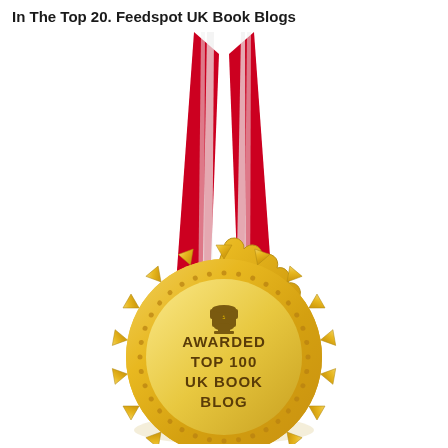In The Top 20. Feedspot UK Book Blogs
[Figure (illustration): A gold award medal with red and white ribbon/lanyard at top, featuring a scalloped/sunburst gold outer ring, a dotted inner ring, and a central circle with a trophy icon at top and text reading AWARDED TOP 100 UK BOOK BLOG. The medal casts a subtle shadow below.]